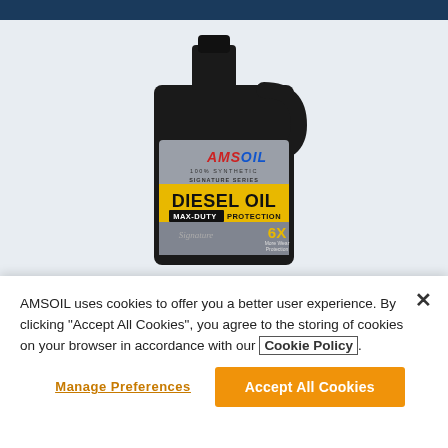[Figure (photo): AMSOIL 100% Synthetic Signature Series Diesel Oil product jug in black, showing the product label with AMSOIL logo, DIESEL OIL MAX-DUTY PROTECTION, and 6X More Wear Protection. Product is in a black plastic gallon jug with a handle.]
AMSOIL uses cookies to offer you a better user experience. By clicking “Accept All Cookies”, you agree to the storing of cookies on your browser in accordance with our Cookie Policy.
Manage Preferences
Accept All Cookies